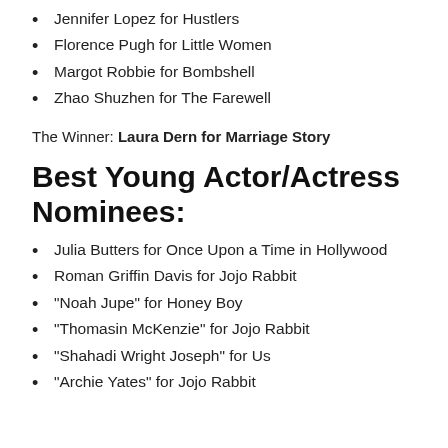Jennifer Lopez for Hustlers
Florence Pugh for Little Women
Margot Robbie for Bombshell
Zhao Shuzhen for The Farewell
The Winner: Laura Dern for Marriage Story
Best Young Actor/Actress Nominees:
Julia Butters for Once Upon a Time in Hollywood
Roman Griffin Davis for Jojo Rabbit
"Noah Jupe" for Honey Boy
"Thomasin McKenzie" for Jojo Rabbit
"Shahadi Wright Joseph" for Us
"Archie Yates" for Jojo Rabbit